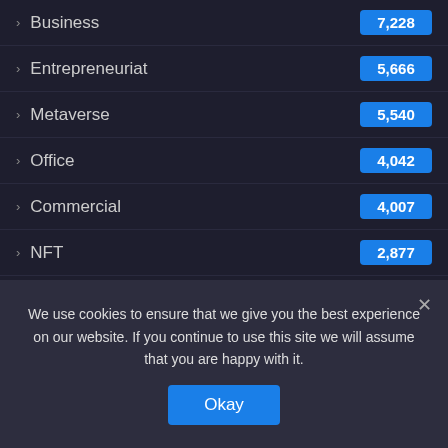Business 7,228
Entrepreneuriat 5,666
Metaverse 5,540
Office 4,042
Commercial 4,007
NFT 2,877
Trends 3
About Us
We use cookies to ensure that we give you the best experience on our website. If you continue to use this site we will assume that you are happy with it.